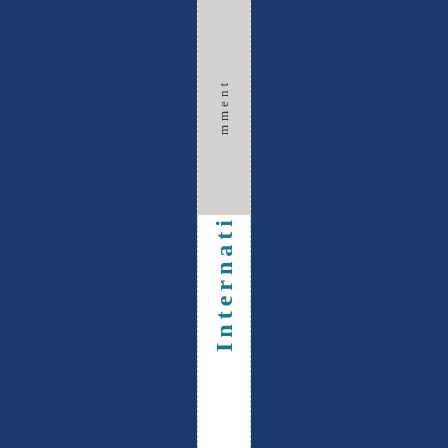[Figure (other): Book spine or document cover page with dark navy blue background and a white vertical spine strip. The top portion of the spine shows partially visible text 'mment' in small gray serif letters on a light gray background. The lower portion shows large bold teal/dark cyan text spelling 'Internati' (continuing off the bottom) vertically along the spine.]